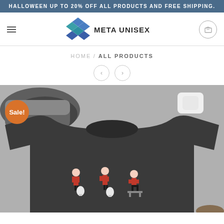HALLOWEEN UP TO 20% OFF ALL PRODUCTS AND FREE SHIPPING.
[Figure (logo): Meta Unisex logo with layered diamond shapes in blue and teal, next to text META UNISEX]
HOME / ALL PRODUCTS
[Figure (photo): Dark charcoal t-shirt laid flat on grey surface with sneakers and earbuds nearby. T-shirt features cartoon figures in red Star Trek uniforms. Orange Sale! badge in top left corner.]